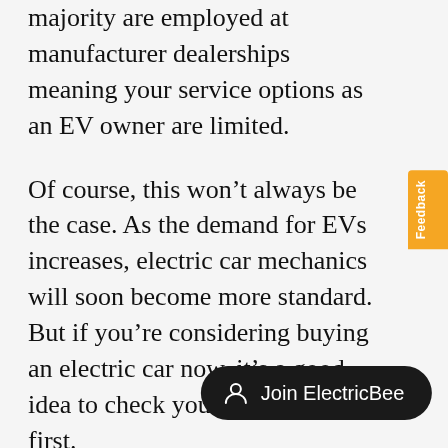majority are employed at manufacturer dealerships meaning your service options as an EV owner are limited.
Of course, this won’t always be the case. As the demand for EVs increases, electric car mechanics will soon become more standard. But if you’re considering buying an electric car now, it’s a good idea to check your local area first.
Do electric cars still need MOT?
MOT ( Ministry Of Transport ) tests ensure
[Figure (other): Orange vertical Feedback tab on the right edge of the page]
[Figure (other): Dark pill-shaped button with person icon and text 'Join ElectricBee']